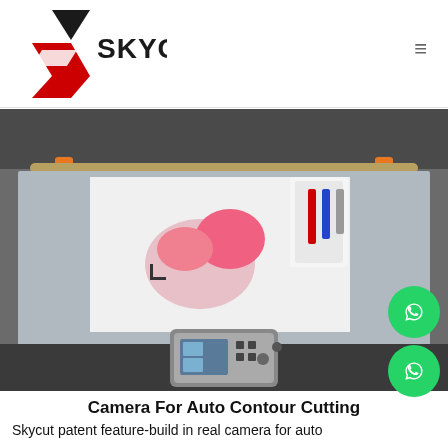SKYCUT® [hamburger menu icon]
[Figure (photo): Close-up photo of a Skycut flatbed cutting machine with a printed sheet on the cutting mat, showing the cutting head in action. The machine has a dark grey body, orange roller clips, a horizontal metal bar with roller, and a digital control panel at the bottom center.]
Camera For Auto Contour Cutting
Skycut patent feature-build in real camera for auto